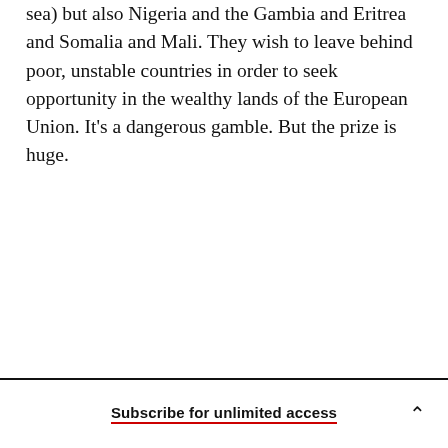sea) but also Nigeria and the Gambia and Eritrea and Somalia and Mali. They wish to leave behind poor, unstable countries in order to seek opportunity in the wealthy lands of the European Union. It's a dangerous gamble. But the prize is huge.
Subscribe for unlimited access